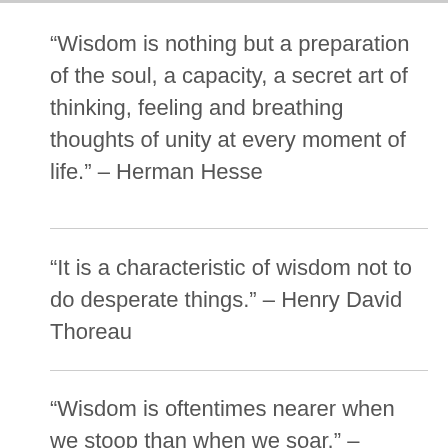“Wisdom is nothing but a preparation of the soul, a capacity, a secret art of thinking, feeling and breathing thoughts of unity at every moment of life.” – Herman Hesse
“It is a characteristic of wisdom not to do desperate things.” – Henry David Thoreau
“Wisdom is oftentimes nearer when we stoop than when we soar.” – William Wordsworth